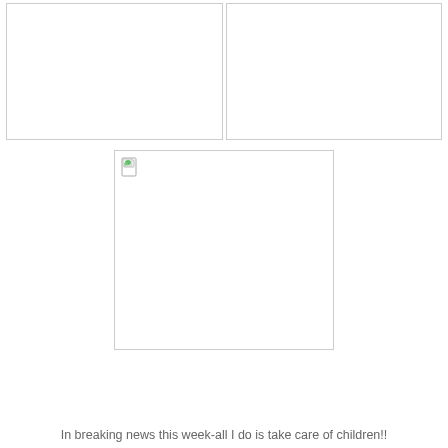[Figure (photo): Two blank/white image placeholders side by side at the top of the page]
[Figure (photo): A centered image placeholder with a broken image icon in the top-left corner]
In breaking news this week-all I do is take care of children!!